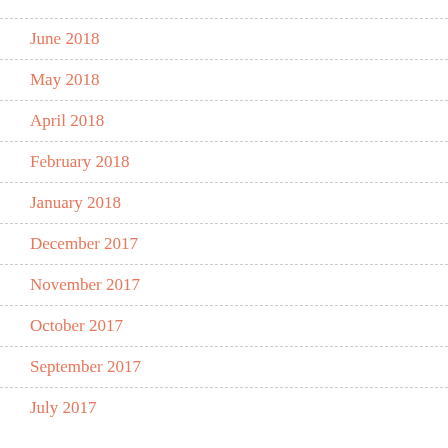June 2018
May 2018
April 2018
February 2018
January 2018
December 2017
November 2017
October 2017
September 2017
July 2017